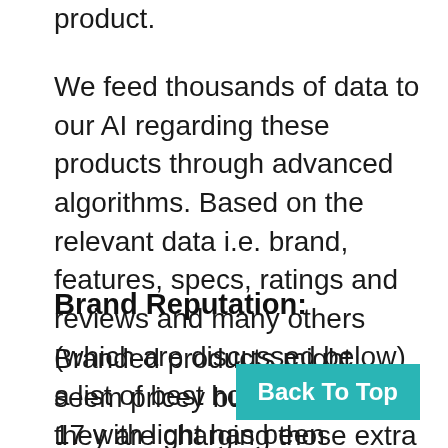product.
We feed thousands of data to our AI regarding these products through advanced algorithms. Based on the relevant data i.e. brand, features, specs, ratings and reviews and many others (which are discussed below) a list of best holster for glock 17 with light has been prepared by the AI.
Brand Reputation:
Branded products might seem pricey but the point is they are charging those extra bucks for reliability. Unlike many other doesn't come cheap. 8 out of 10 times you can